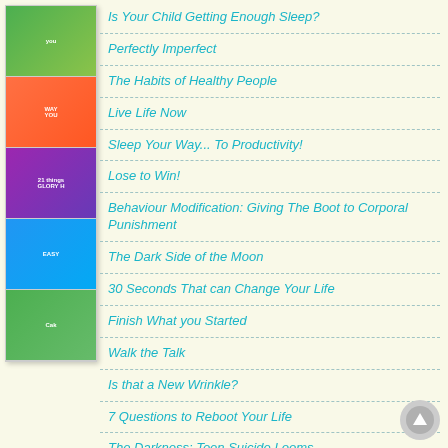[Figure (illustration): Stack of magazine covers shown in a vertical column on the left side]
Is Your Child Getting Enough Sleep?
Perfectly Imperfect
The Habits of Healthy People
Live Life Now
Sleep Your Way... To Productivity!
Lose to Win!
Behaviour Modification: Giving The Boot to Corporal Punishment
The Dark Side of the Moon
30 Seconds That can Change Your Life
Finish What you Started
Walk the Talk
Is that a New Wrinkle?
7 Questions to Reboot Your Life
The Darkness: Teen Suicide Looms